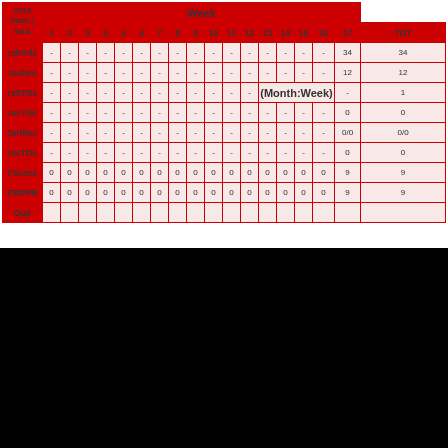| 2019 Stats | SEA | Week |  | 1 | 2 | 3 | 4 | 5 | 6 | 7 | 8 | 9 | 10 | 11 | 12 | 13 | 14 | 15 | 16 | 17 | TOT |
| --- | --- | --- | --- | --- | --- | --- | --- | --- | --- | --- | --- | --- | --- | --- | --- | --- | --- | --- | --- | --- |
| rshYds | - | - | - | - | - | - | - | - | - | - | - | - | - | - | - | 34 | 34 |
| rushes | - | - | - | - | - | - | - | - | - | - | - | - | - | - | - | 12 | 12 |
| rshTDs | - | - | - | - | - | - | - | - | - | - | - | (Month:Week) |  |  |  | 1 |
| recYds | - | - | - | - | - | - | - | - | - | - | - | - | - | - | - | 0 | 0 |
| Tar/Rec | - | - | - | - | - | - | - | - | - | - | - | - | - | - | - | 0/0 | 0/0 |
| recTDs | - | - | - | - | - | - | - | - | - | - | - | - | - | - | - | 0 | 0 |
| FScore | 0 | 0 | 0 | 0 | 0 | 0 | 0 | 0 | 0 | 0 | 0 | 0 | 0 | 0 | 0 | 0 | 9 | 9 |
| FS/PPR | 0 | 0 | 0 | 0 | 0 | 0 | 0 | 0 | 0 | 0 | 0 | 0 | 0 | 0 | 0 | 0 | 9 | 9 |
| Opp |  |  |  |  |  |  |  |  |  |  |  |  |  |  |  |  |  |